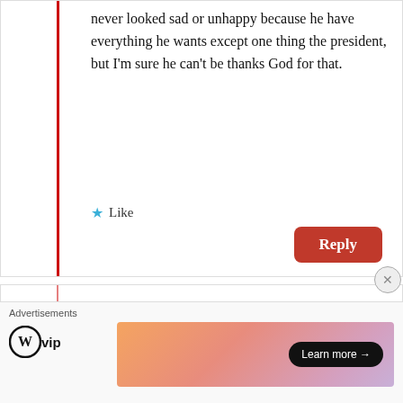never looked sad or unhappy because he have everything he wants except one thing the president, but I'm sure he can't be thanks God for that.
Like
Reply
AGUMUT
May 17, 2015 at 2:15 am
Shilluk and BED SHEETS.
Advertisements
[Figure (logo): WordPress VIP logo]
[Figure (other): Gradient advertisement banner with Learn more arrow button]